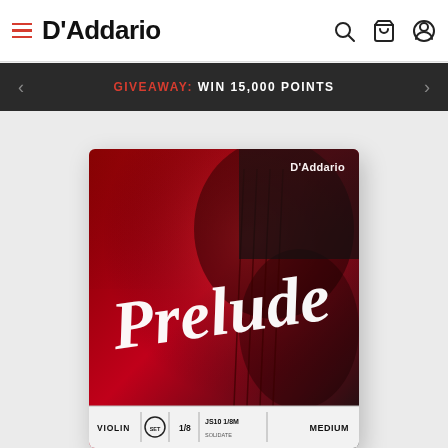D'Addario
GIVEAWAY: WIN 15,000 POINTS
[Figure (photo): D'Addario Prelude Violin String Set product package. Red and black packaging with 'Prelude' written in white script. D'Addario logo in top right. Bottom label shows: VIOLIN, SET, 1/8, JS10 1/8M, MEDIUM.]